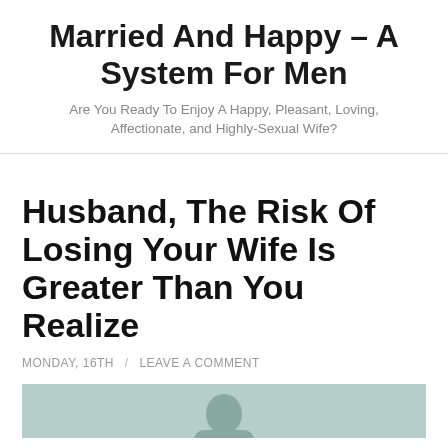Married And Happy – A System For Men
Are You Ready To Enjoy A Happy, Pleasant, Loving, Affectionate, and Highly-Sexual Wife?
Husband, The Risk Of Losing Your Wife Is Greater Than You Realize
MONDAY, 16TH / LEAVE A COMMENT
[Figure (photo): A man's head and shoulders visible at the bottom of the page, on a light teal/grey background]